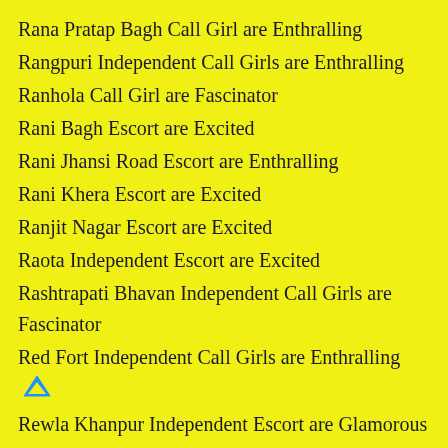Rana Pratap Bagh Call Girl are Enthralling
Rangpuri Independent Call Girls are Enthralling
Ranhola Call Girl are Fascinator
Rani Bagh Escort are Excited
Rani Jhansi Road Escort are Enthralling
Rani Khera Escort are Excited
Ranjit Nagar Escort are Excited
Raota Independent Escort are Excited
Rashtrapati Bhavan Independent Call Girls are Fascinator
Red Fort Independent Call Girls are Enthralling
Rewla Khanpur Independent Escort are Glamorous
Rithala Call Girl are Glamorous